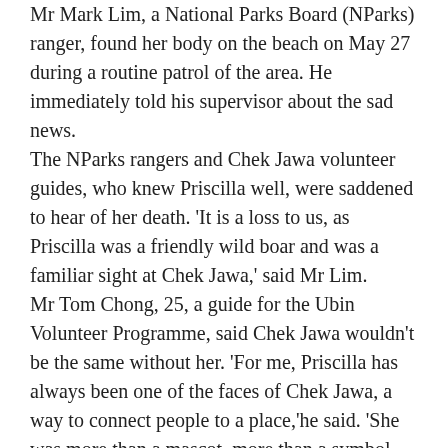Mr Mark Lim, a National Parks Board (NParks) ranger, found her body on the beach on May 27 during a routine patrol of the area. He immediately told his supervisor about the sad news.
The NParks rangers and Chek Jawa volunteer guides, who knew Priscilla well, were saddened to hear of her death. 'It is a loss to us, as Priscilla was a friendly wild boar and was a familiar sight at Chek Jawa,' said Mr Lim.
Mr Tom Chong, 25, a guide for the Ubin Volunteer Programme, said Chek Jawa wouldn't be the same without her. 'For me, Priscilla has always been one of the faces of Chek Jawa, a way to connect people to a place,'he said. 'She was more than a mascot, more than a symbol. 'The walks will be that much harder to conduct now that she will no longer be expected to turn up with a smile and a wag of her tail,' he added.
Even those who had only known Priscilla for a...